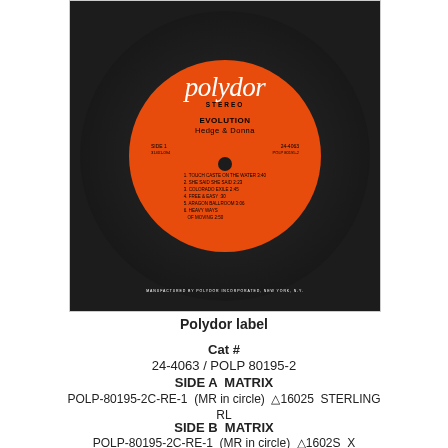[Figure (photo): Photo of an orange Polydor stereo vinyl record label for the album 'Evolution' by Hedge & Donna. The label shows track listing including: 1. TOUCH CASTE ON THE WATER 3:40, 2. SHE SAID SHE SAID 2:23, 3. COLORADO EXILE 2:45, 4. FREE & EASY :30, 5. ARAGON BALLROOM 3:06, 6. HEAVY WAYS / OF MOVING 2:50. Catalog numbers: 24-4063 and POLP 80195-2. Manufactured by Polydor Incorporated, New York, N.Y.]
Polydor label
Cat #
24-4063  /  POLP 80195-2
SIDE A  MATRIX
POLP-80195-2C-RE-1  (MR in circle)  △16025  STERLING  RL
SIDE B  MATRIX
POLP-80195-2C-RE-1  (MR in circle)  △16025  X